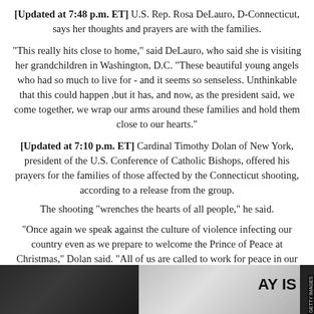[Updated at 7:48 p.m. ET] U.S. Rep. Rosa DeLauro, D-Connecticut, says her thoughts and prayers are with the families.
"This really hits close to home," said DeLauro, who said she is visiting her grandchildren in Washington, D.C. "These beautiful young angels who had so much to live for - and it seems so senseless. Unthinkable that this could happen ,but it has, and now, as the president said, we come together, we wrap our arms around these families and hold them close to our hearts."
[Updated at 7:10 p.m. ET] Cardinal Timothy Dolan of New York, president of the U.S. Conference of Catholic Bishops, offered his prayers for the families of those affected by the Connecticut shooting, according to a release from the group.
The shooting "wrenches the hearts of all people," he said.
"Once again we speak against the culture of violence infecting our country even as we prepare to welcome the Prince of Peace at Christmas," Dolan said. "All of us are called to work for peace in our homes, our streets and our world, now more than ever."
[Figure (photo): Photo of people at a scene, partially visible faces and a sign reading 'DAY IS', with Getty Images watermark]